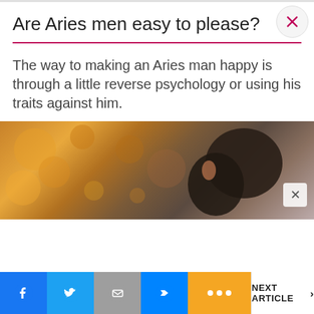Are Aries men easy to please?
The way to making an Aries man happy is through a little reverse psychology or using his traits against him.
[Figure (photo): Blurred bokeh background with golden/orange circular lights and a dark-haired person's head visible from behind in the right portion of the image.]
NEXT ARTICLE >